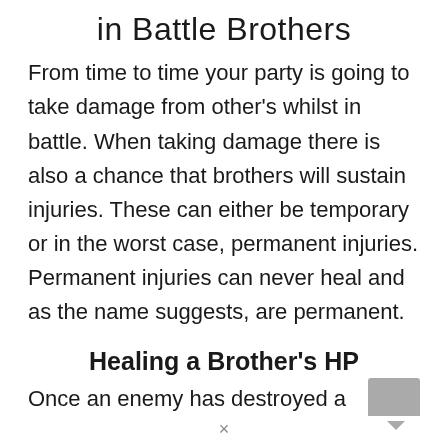in Battle Brothers
From time to time your party is going to take damage from other’s whilst in battle. When taking damage there is also a chance that brothers will sustain injuries. These can either be temporary or in the worst case, permanent injuries. Permanent injuries can never heal and as the name suggests, are permanent.
Healing a Brother’s HP
Once an enemy has destroyed a